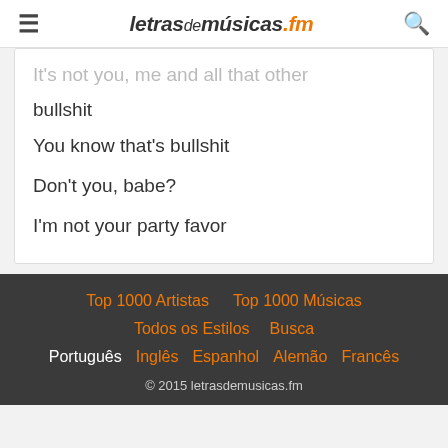letrasdemúsicas.fm
It's not you, me and all that other bullshit
You know that's bullshit
Don't you, babe?
I'm not your party favor
Top 1000 Artistas   Top 1000 Músicas   Todos os Estilos   Busca   Português   Inglês   Espanhol   Alemão   Francês   © 2015 letrasdemusicas.fm